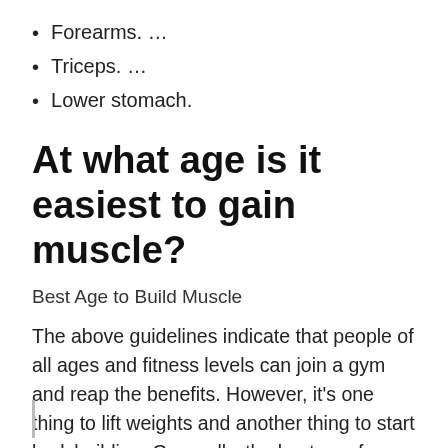Forearms. …
Triceps. …
Lower stomach.
At what age is it easiest to gain muscle?
Best Age to Build Muscle
The above guidelines indicate that people of all ages and fitness levels can join a gym and reap the benefits. However, it's one thing to lift weights and another thing to start bodybuilding. Generally, the best age for bodybuilding is between 20 and 30 or when you have reached full growth.